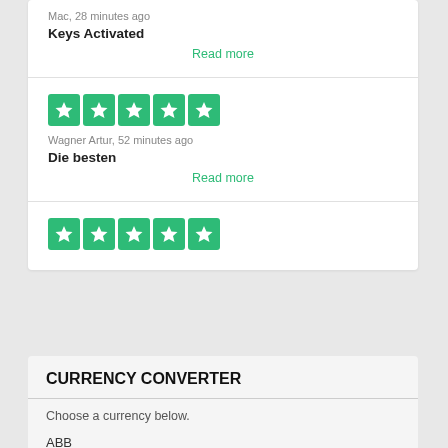Mac, 28 minutes ago
Keys Activated
Read more
[Figure (other): Five green star rating boxes (Trustpilot style)]
Wagner Artur, 52 minutes ago
Die besten
Read more
[Figure (other): Five green star rating boxes (Trustpilot style)]
CURRENCY CONVERTER
Choose a currency below.